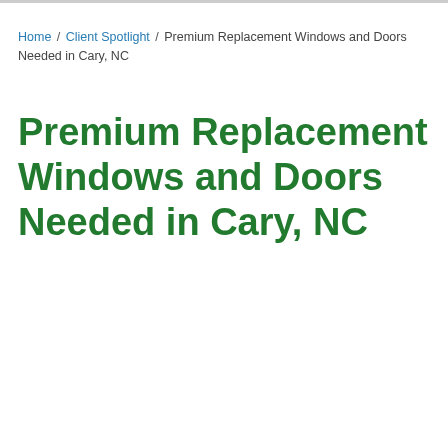Home / Client Spotlight / Premium Replacement Windows and Doors Needed in Cary, NC
Premium Replacement Windows and Doors Needed in Cary, NC